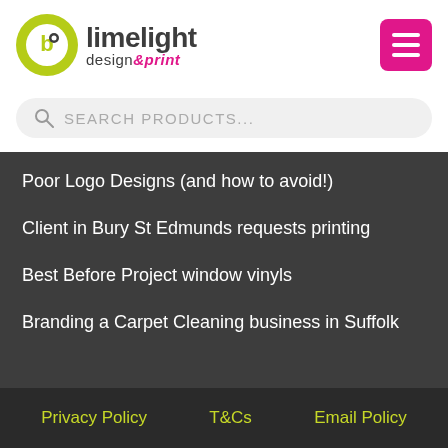[Figure (logo): Limelight Design & Print logo with green circle icon and company name]
SEARCH PRODUCTS...
Poor Logo Designs (and how to avoid!)
Client in Bury St Edmunds requests printing
Best Before Project window vinyls
Branding a Carpet Cleaning business in Suffolk
Privacy Policy   T&Cs   Email Policy